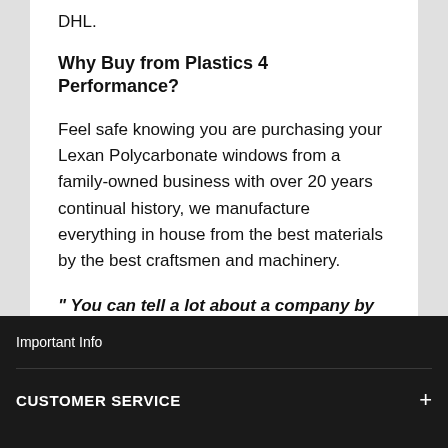DHL.
Why Buy from Plastics 4 Performance?
Feel safe knowing you are purchasing your Lexan Polycarbonate windows from a family-owned business with over 20 years continual history, we manufacture everything in house from the best materials by the best craftsmen and machinery.
" You can tell a lot about a company by the people they supply to - and at Plastics 4 Performance we supply to the best "
Important Info
CUSTOMER SERVICE